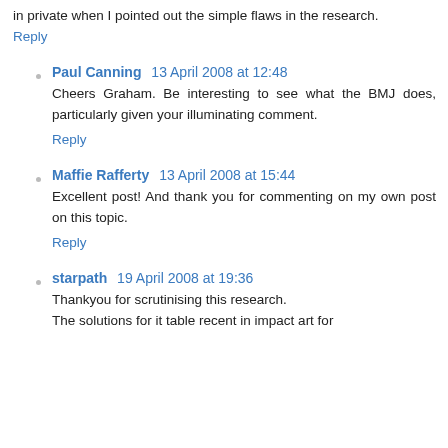in private when I pointed out the simple flaws in the research.
Reply
Paul Canning  13 April 2008 at 12:48
Cheers Graham. Be interesting to see what the BMJ does, particularly given your illuminating comment.
Reply
Maffie Rafferty  13 April 2008 at 15:44
Excellent post! And thank you for commenting on my own post on this topic.
Reply
starpath  19 April 2008 at 19:36
Thankyou for scrutinising this research. The solutions for it table recent in impact art for